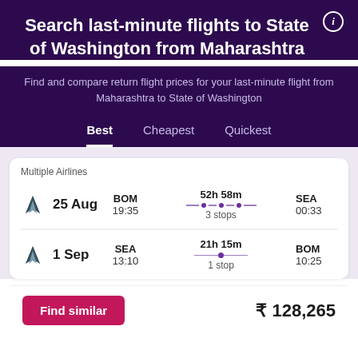Search last-minute flights to State of Washington from Maharashtra
Find and compare return flight prices for your last-minute flight from Maharashtra to State of Washington
Best   Cheapest   Quickest
Multiple Airlines
| Date | From | Duration | To |
| --- | --- | --- | --- |
| 25 Aug | BOM 19:35 | 52h 58m 3 stops | SEA 00:33 |
| 1 Sep | SEA 13:10 | 21h 15m 1 stop | BOM 10:25 |
Find similar   ₹ 128,265